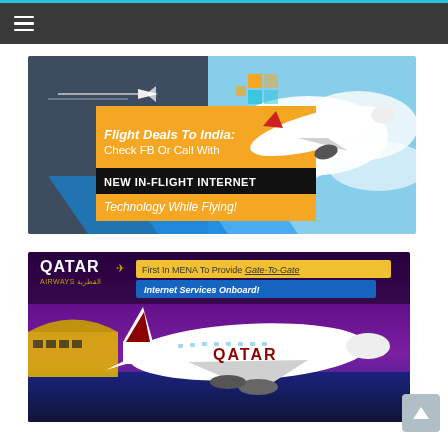[Figure (screenshot): Dark navigation bar with hamburger menu icon (three horizontal white lines) on a dark gray background with a teal/cyan top border strip]
[Figure (infographic): Flight Deals To India advertisement banner showing an airplane flying above clouds. Orange background with text: 'Flight Deals To India: Check FB Or Call With NEW IN-FLIGHT INTERNET Technology While Flying!' Dark grey geometric design on left, blue/sky background on right with airplane.]
[Figure (infographic): Qatar Airways advertisement banner showing a large white Qatar Airways airplane on tarmac at night/dusk with purple sky. Text overlay: 'First In MENA To Provide Gate-To-Gate Internet Services Onboard!' with Qatar Airways logo in top left.]